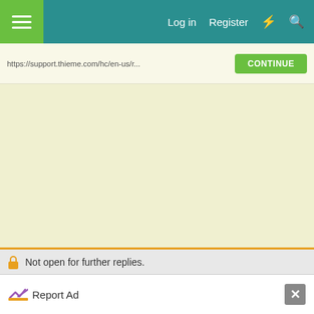Log in  Register
https://support.thieme.com/hc/en-us/... CONTINUE
Not open for further replies.
Report Ad